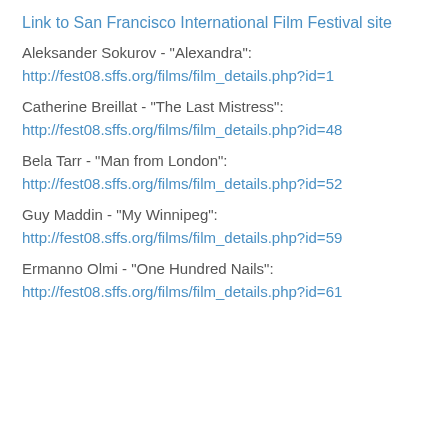Link to San Francisco International Film Festival site
Aleksander Sokurov - "Alexandra":
http://fest08.sffs.org/films/film_details.php?id=1
Catherine Breillat - "The Last Mistress":
http://fest08.sffs.org/films/film_details.php?id=48
Bela Tarr - "Man from London":
http://fest08.sffs.org/films/film_details.php?id=52
Guy Maddin - "My Winnipeg":
http://fest08.sffs.org/films/film_details.php?id=59
Ermanno Olmi - "One Hundred Nails":
http://fest08.sffs.org/films/film_details.php?id=61